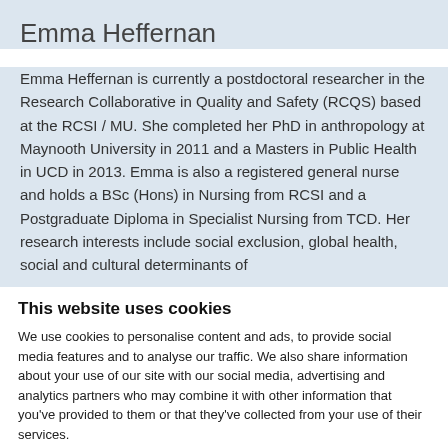Emma Heffernan
Emma Heffernan is currently a postdoctoral researcher in the Research Collaborative in Quality and Safety (RCQS) based at the RCSI / MU. She completed her PhD in anthropology at Maynooth University in 2011 and a Masters in Public Health in UCD in 2013. Emma is also a registered general nurse and holds a BSc (Hons) in Nursing from RCSI and a Postgraduate Diploma in Specialist Nursing from TCD. Her research interests include social exclusion, global health, social and cultural determinants of
This website uses cookies
We use cookies to personalise content and ads, to provide social media features and to analyse our traffic. We also share information about your use of our site with our social media, advertising and analytics partners who may combine it with other information that you've provided to them or that they've collected from your use of their services.
Deny | Allow selection | Allow all
Necessary | Preferences | Statistics | Marketing | Show details